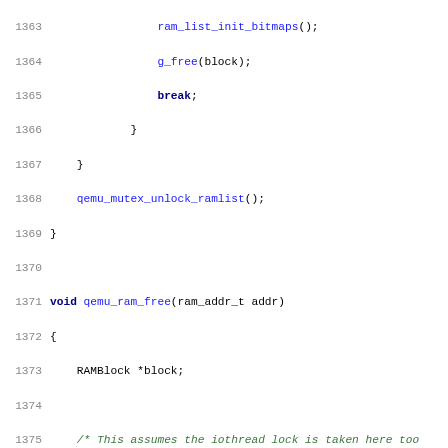[Figure (screenshot): Source code listing showing C code for qemu_ram_free function, lines 1363-1395, with syntax highlighting. Keywords in bold dark blue, function names in blue, comments in italic green, preprocessor directives in black.]